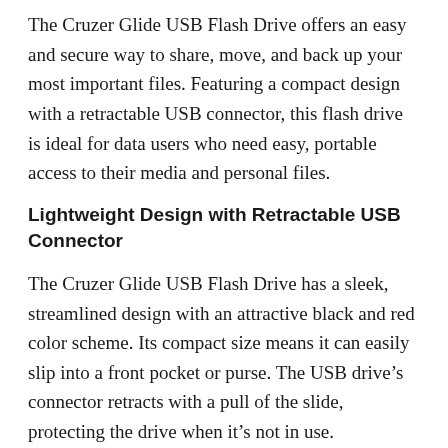The Cruzer Glide USB Flash Drive offers an easy and secure way to share, move, and back up your most important files. Featuring a compact design with a retractable USB connector, this flash drive is ideal for data users who need easy, portable access to their media and personal files.
Lightweight Design with Retractable USB Connector
The Cruzer Glide USB Flash Drive has a sleek, streamlined design with an attractive black and red color scheme. Its compact size means it can easily slip into a front pocket or purse. The USB drive’s connector retracts with a pull of the slide, protecting the drive when it’s not in use.
High-Capacity Drive Stores Your Essential Files
Available in capacities up to 128GB, the Cruzer Glide USB Flash Drive lets you carry your favorite media with you. You’ll